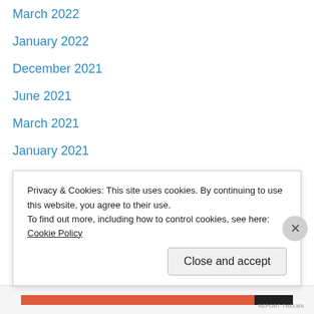March 2022
January 2022
December 2021
June 2021
March 2021
January 2021
December 2020
August 2020
July 2020
April 2020
March 2020
January 2020
December 2019
August 2019
Privacy & Cookies: This site uses cookies. By continuing to use this website, you agree to their use. To find out more, including how to control cookies, see here: Cookie Policy
Close and accept